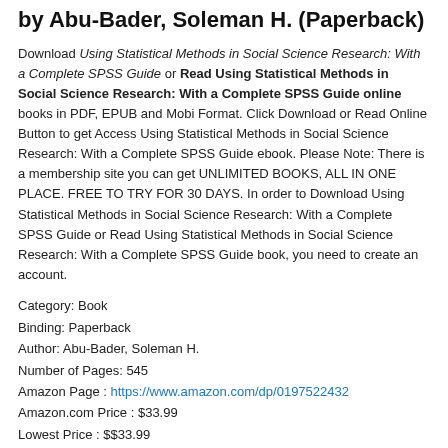by Abu-Bader, Soleman H. (Paperback)
Download Using Statistical Methods in Social Science Research: With a Complete SPSS Guide or Read Using Statistical Methods in Social Science Research: With a Complete SPSS Guide online books in PDF, EPUB and Mobi Format. Click Download or Read Online Button to get Access Using Statistical Methods in Social Science Research: With a Complete SPSS Guide ebook. Please Note: There is a membership site you can get UNLIMITED BOOKS, ALL IN ONE PLACE. FREE TO TRY FOR 30 DAYS. In order to Download Using Statistical Methods in Social Science Research: With a Complete SPSS Guide or Read Using Statistical Methods in Social Science Research: With a Complete SPSS Guide book, you need to create an account.
Category: Book
Binding: Paperback
Author: Abu-Bader, Soleman H.
Number of Pages: 545
Amazon Page : https://www.amazon.com/dp/0197522432
Amazon.com Price : $33.99
Lowest Price : $$33.99
Total Offers : 10
Rating: 5.0
Total Reviews: ?